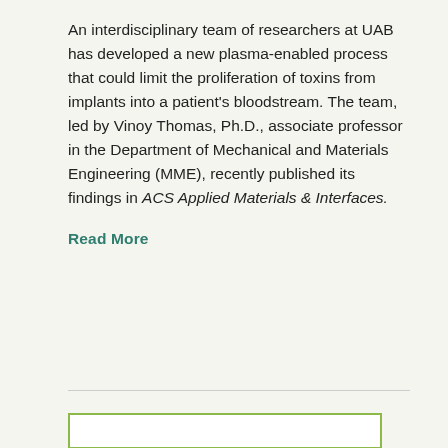An interdisciplinary team of researchers at UAB has developed a new plasma-enabled process that could limit the proliferation of toxins from implants into a patient's bloodstream. The team, led by Vinoy Thomas, Ph.D., associate professor in the Department of Mechanical and Materials Engineering (MME), recently published its findings in ACS Applied Materials & Interfaces.
Read More